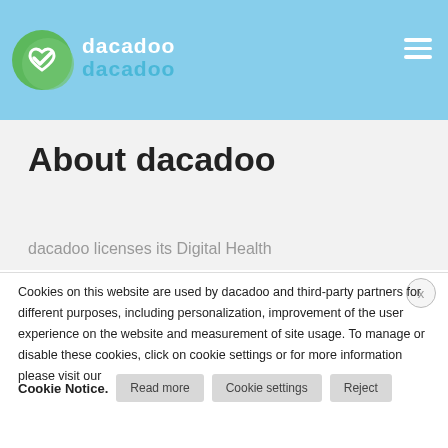dacadoo — navigation header with logo and hamburger menu
About dacadoo
dacadoo licenses its Digital Health
Cookies on this website are used by dacadoo and third-party partners for different purposes, including personalization, improvement of the user experience on the website and measurement of site usage. To manage or disable these cookies, click on cookie settings or for more information please visit our Cookie Notice.
Read more
Cookie settings
Reject
Accept